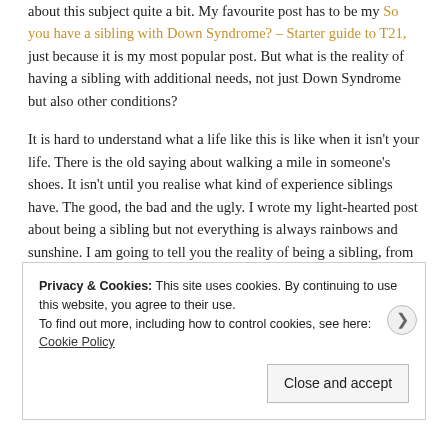about this subject quite a bit. My favourite post has to be my So you have a sibling with Down Syndrome? – Starter guide to T21, just because it is my most popular post. But what is the reality of having a sibling with additional needs, not just Down Syndrome but also other conditions?
It is hard to understand what a life like this is like when it isn't your life. There is the old saying about walking a mile in someone's shoes. It isn't until you realise what kind of experience siblings have. The good, the bad and the ugly. I wrote my light-hearted post about being a sibling but not everything is always rainbows and sunshine. I am going to tell you the reality of being a sibling, from my eyes.
Privacy & Cookies: This site uses cookies. By continuing to use this website, you agree to their use. To find out more, including how to control cookies, see here: Cookie Policy